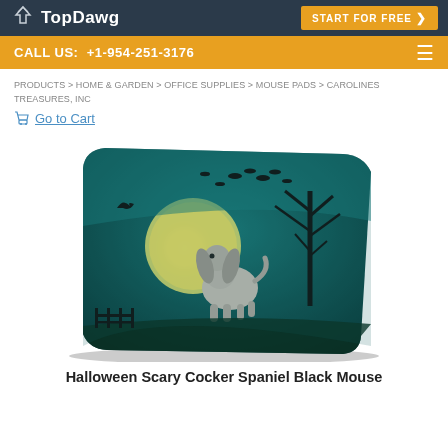TopDawg | START FOR FREE
CALL US: +1-954-251-3176
PRODUCTS > HOME & GARDEN > OFFICE SUPPLIES > MOUSE PADS > CAROLINES TREASURES, INC
Go to Cart
[Figure (photo): Mouse pad with Halloween scary Cocker Spaniel Black design — teal background with full moon, spooky tree, bird silhouettes, and a Cocker Spaniel dog]
Halloween Scary Cocker Spaniel Black Mouse